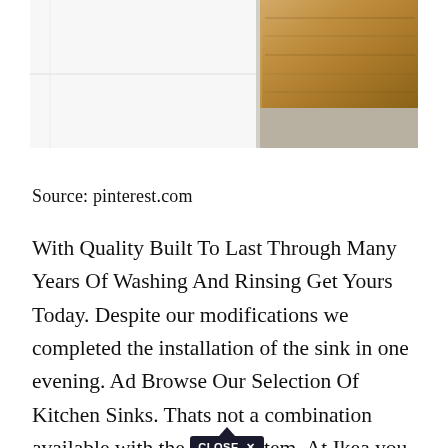[Figure (photo): Photo of white cabinet drawers with a wooden drawer top, partially open, showing wood grain surface against white cabinetry]
Source: pinterest.com
With Quality Built To Last Through Many Years Of Washing And Rinsing Get Yours Today. Despite our modifications we completed the installation of the sink in one evening. Ad Browse Our Selection Of Kitchen Sinks. Thats not a combination available with the [CLOSE X] tem. At Ikea you